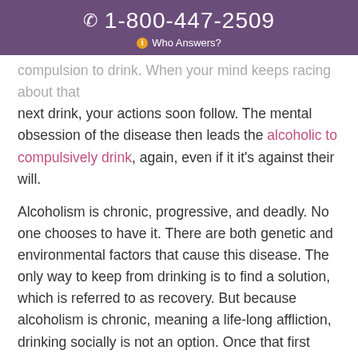1-800-447-2509
Who Answers?
compulsion to drink. When your mind keeps racing about that next drink, your actions soon follow. The mental obsession of the disease then leads the alcoholic to compulsively drink, again, even if it it's against their will.
Alcoholism is chronic, progressive, and deadly. No one chooses to have it. There are both genetic and environmental factors that cause this disease. The only way to keep from drinking is to find a solution, which is referred to as recovery. But because alcoholism is chronic, meaning a life-long affliction, drinking socially is not an option. Once that first drink goes down, the phenomenon of craving (that mental obsession) kicks in and a chain reaction soon follows.
Putting any mood or mind-altering substance in your system can reignite your alcoholism all over again. It's possible to